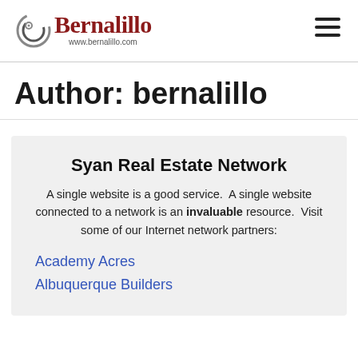Bernalillo www.bernalillo.com
Author: bernalillo
Syan Real Estate Network
A single website is a good service. A single website connected to a network is an invaluable resource. Visit some of our Internet network partners:
Academy Acres
Albuquerque Builders